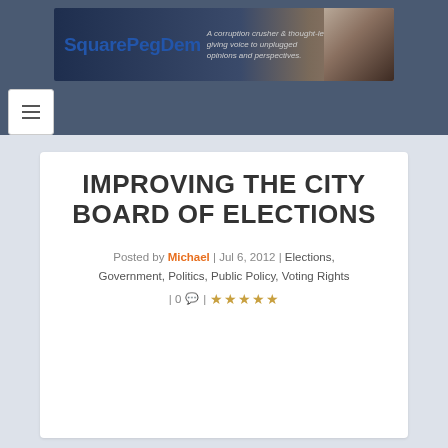[Figure (logo): SquarePegDem website banner with logo text and tagline 'A corruption crusher & thought-leader giving voice to unplugged opinions and perspectives.' with a photo of a person on the right side.]
IMPROVING THE CITY BOARD OF ELECTIONS
Posted by Michael | Jul 6, 2012 | Elections, Government, Politics, Public Policy, Voting Rights | 0 comments | star rating